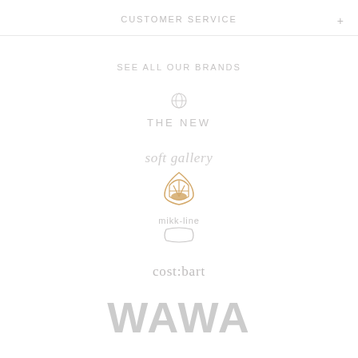CUSTOMER SERVICE
+
SEE ALL OUR BRANDS
[Figure (logo): The New brand logo with small circular icon above the text THE NEW in spaced uppercase letters]
[Figure (logo): Soft Gallery brand logo in italic script with an orange/gold semicircular chair icon below]
[Figure (logo): mikk-line brand logo with small circular arc icon below the text mikk-line]
[Figure (logo): cost:bart brand logo in lowercase serif letters]
[Figure (logo): WAWA brand logo in large bold uppercase letters in light gray]